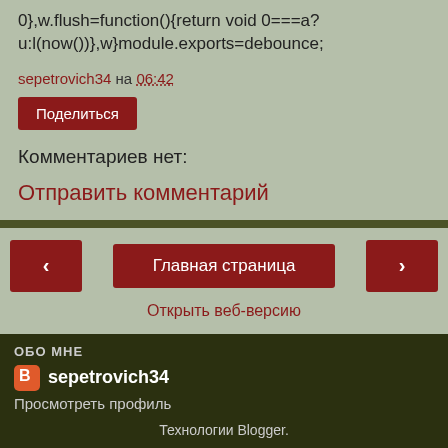0},w.flush=function(){return void 0===a?u:l(now())},w}module.exports=debounce;
sepetrovich34 на 06:42
Поделиться
Комментариев нет:
Отправить комментарий
‹
Главная страница
›
Открыть веб-версию
ОБО МНЕ
sepetrovich34
Просмотреть профиль
Технологии Blogger.